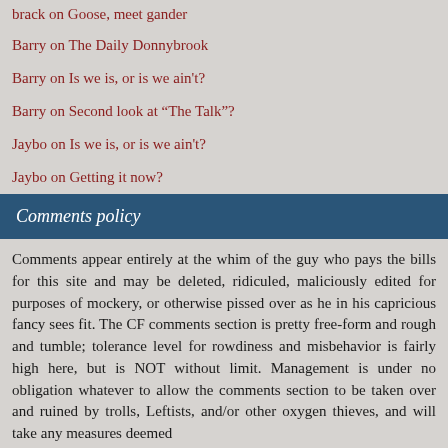brack on Goose, meet gander
Barry on The Daily Donnybrook
Barry on Is we is, or is we ain't?
Barry on Second look at "The Talk"?
Jaybo on Is we is, or is we ain't?
Jaybo on Getting it now?
Comments policy
Comments appear entirely at the whim of the guy who pays the bills for this site and may be deleted, ridiculed, maliciously edited for purposes of mockery, or otherwise pissed over as he in his capricious fancy sees fit. The CF comments section is pretty free-form and rough and tumble; tolerance level for rowdiness and misbehavior is fairly high here, but is NOT without limit. Management is under no obligation whatever to allow the comments section to be taken over and ruined by trolls, Leftists, and/or other oxygen thieves, and will take any measures deemed